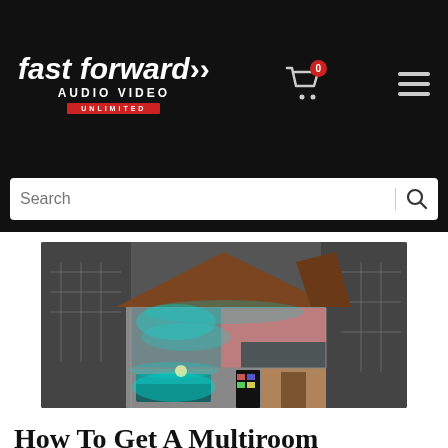Fast Forward Audio Video Unlimited — navigation header with cart and menu
[Figure (illustration): Website search bar with magnifying glass icon]
[Figure (photo): 3D cross-section illustration of a multi-room house showing rooms with audio/sound wave visualization in teal/blue, overlaid on architectural blueprint background]
How To Get A Multiroom